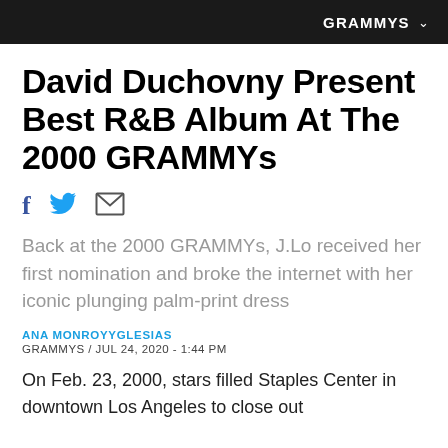GRAMMYS
David Duchovny Present Best R&B Album At The 2000 GRAMMYs
[Figure (infographic): Social sharing icons: Facebook (f), Twitter (bird), and email (envelope)]
Back at the 2000 GRAMMYs, J.Lo received her first nomination and broke the internet with her iconic plunging palm-print dress
ANA MONROYYGLESIAS
GRAMMYS / JUL 24, 2020 - 1:44 PM
On Feb. 23, 2000, stars filled Staples Center in downtown Los Angeles to close out